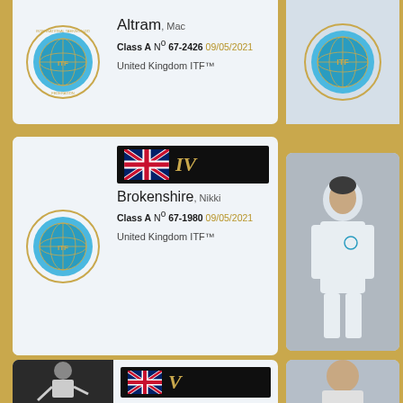Altram, Mac — Class A N° 67-2426 09/05/2021 — United Kingdom ITF™
[Figure (photo): Partial photo card top right, clipped at page edge]
Brokenshire, Nikki — Class A N° 67-1980 09/05/2021 — United Kingdom ITF™ — Rank IV
[Figure (photo): Photo of a person in white taekwondo uniform, partially visible at right]
Devadhas, Moses Reginald — Class B N° 66-2265 06/12/2020 — United Kingdom ITF™ — Rank II
[Figure (photo): Partial ITF logo visible at right side of Devadhas card]
[Figure (photo): Partial photo of person in taekwondo pose at bottom left; partial photo at bottom right]